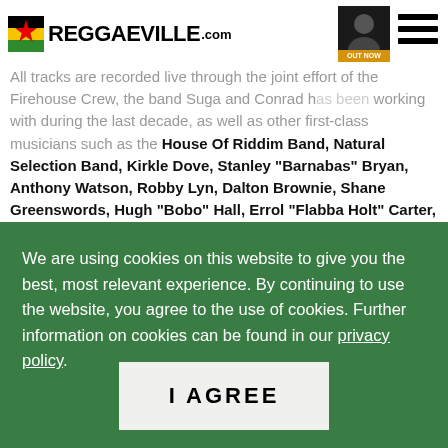REGGAEVILLE.com
All tracks are recorded live through the joint effort of the Firehouse Crew, the band Suga and Conrad has been working with during the last decade, as well as other first-class musicians such as the House Of Riddim Band, Natural Selection Band, Kirkle Dove, Stanley "Barnabas" Bryan, Anthony Watson, Robby Lyn, Dalton Brownie, Shane Greenswords, Hugh "Bobo" Hall, Errol "Flabba Holt" Carter,
We are using cookies on this website to give you the best, most relevant experience. By continuing to use the website, you agree to the use of cookies. Further information on cookies can be found in our privacy policy.
I AGREE